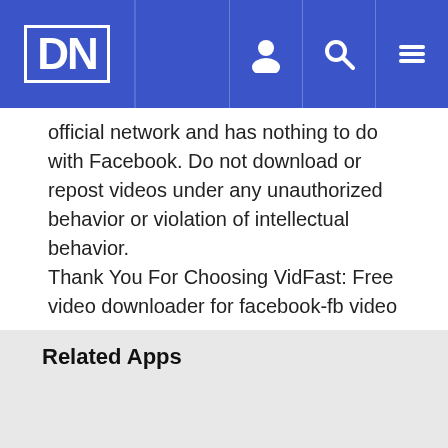DN (logo with navigation icons)
official network and has nothing to do with Facebook. Do not download or repost videos under any unauthorized behavior or violation of intellectual behavior.
Thank You For Choosing VidFast: Free video downloader for facebook-fb video saver.
Related Apps
[Figure (screenshot): App card with AOTD ribbon in upper right corner and a partial green landscape image at the bottom]